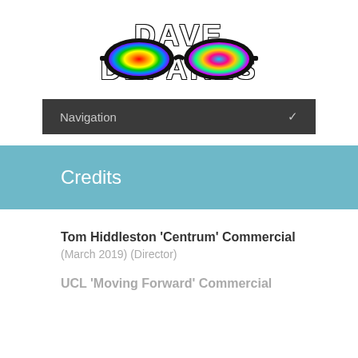[Figure (logo): Dave Depares logo with colorful sunglasses and bold white text on black outline reading DAVE DEPARES]
Navigation ∨
Credits
Tom Hiddleston 'Centrum' Commercial
(March 2019) (Director)
UCL 'Moving Forward' Commercial